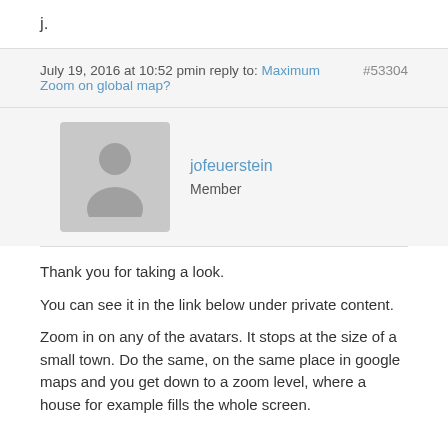j.
July 19, 2016 at 10:52 pmin reply to: Maximum Zoom on global map?   #53304
jofeuerstein
Member
Thank you for taking a look.
You can see it in the link below under private content.
Zoom in on any of the avatars. It stops at the size of a small town. Do the same, on the same place in google maps and you get down to a zoom level, where a house for example fills the whole screen.